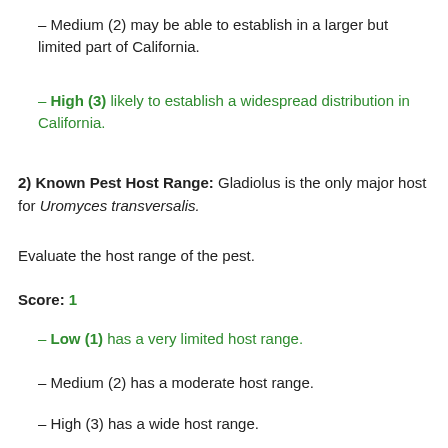– Medium (2) may be able to establish in a larger but limited part of California.
– High (3) likely to establish a widespread distribution in California.
2) Known Pest Host Range: Gladiolus is the only major host for Uromyces transversalis.
Evaluate the host range of the pest.
Score: 1
– Low (1) has a very limited host range.
– Medium (2) has a moderate host range.
– High (3) has a wide host range.